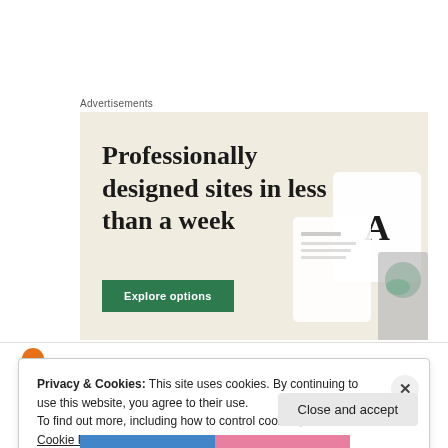Advertisements
[Figure (illustration): Advertisement banner with beige/cream background showing text 'Professionally designed sites in less than a week' with a green 'Explore options' button and device mockup images on the right side]
Privacy & Cookies: This site uses cookies. By continuing to use this website, you agree to their use.
To find out more, including how to control cookies, see here: Cookie Policy
Close and accept